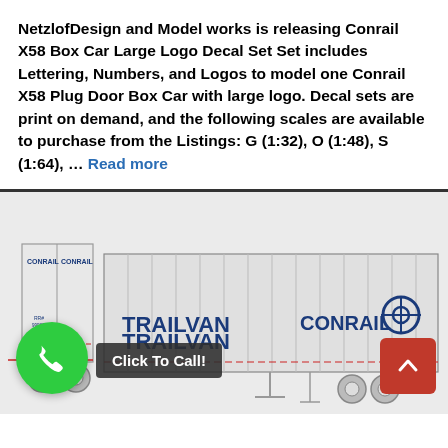NetzlofDesign and Model works is releasing Conrail X58 Box Car Large Logo Decal Set Set includes Lettering, Numbers, and Logos to model one Conrail X58 Plug Door Box Car with large logo. Decal sets are print on demand, and the following scales are available to purchase from the Listings: G (1:32), O (1:48), S (1:64), ... Read more
[Figure (illustration): Engineering-style diagram of a Conrail Trailvan trailer/box car showing side and end views. The side view shows 'TRAILVAN' and 'CONRAIL' lettering in blue with the Conrail wheel logo. The end view shows two panels labeled 'CONRAIL'. Overlaid UI elements: green phone icon button, 'Click To Call!' dark button, and red scroll-to-top arrow button.]